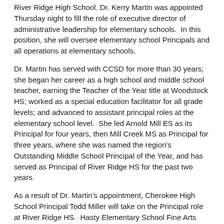River Ridge High School. Dr. Kerry Martin was appointed Thursday night to fill the role of executive director of administrative leadership for elementary schools.  In this position, she will oversee elementary school Principals and all operations at elementary schools.
Dr. Martin has served with CCSD for more than 30 years; she began her career as a high school and middle school teacher, earning the Teacher of the Year title at Woodstock HS; worked as a special education facilitator for all grade levels; and advanced to assistant principal roles at the elementary school level.  She led Arnold Mill ES as its Principal for four years, then Mill Creek MS as Principal for three years, where she was named the region's Outstanding Middle School Principal of the Year, and has served as Principal of River Ridge HS for the past two years.
As a result of Dr. Martin's appointment, Cherokee High School Principal Todd Miller will take on the Principal role at River Ridge HS.  Hasty Elementary School Fine Arts Academy Principal Rodney Larrotta, who most recently previously served as assistant principal at Cherokee HS, now will lead Cherokee HS as its next Principal.
A 24-year educator and former assistant principal at Hasty ES...